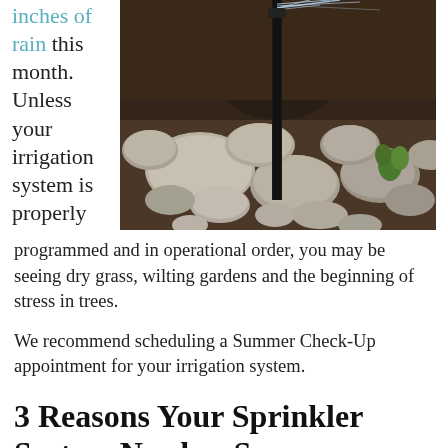inches of rain this month. Unless your irrigation system is properly
[Figure (photo): A black sprinkler stake installed among rocks and dark mulch in a garden bed, with water spraying from the top.]
programmed and in operational order, you may be seeing dry grass, wilting gardens and the beginning of stress in trees.
We recommend scheduling a Summer Check-Up appointment for your irrigation system.
3 Reasons Your Sprinkler System Needs a Summer Check-Up